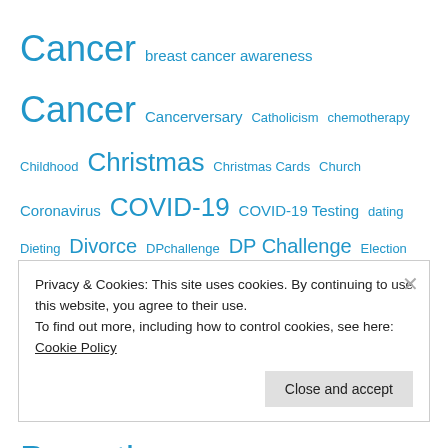Cancer breast cancer awareness Cancer Cancerversary Catholicism chemotherapy Childhood Christmas Christmas Cards Church Coronavirus COVID-19 COVID-19 Testing dating Dieting Divorce DPchallenge DP Challenge Election Equinox exercise Facebook Family Friendship Grief Halloween interracial marriage Journalism liberaljoe.wordpress.com Loss Love Marriage Memories Nostalgia Pandemic Parenting PinkTober Plastic Surgery politics Puppy racism Rants Religion School Snow Social Media Spinning Stay at home
Privacy & Cookies: This site uses cookies. By continuing to use this website, you agree to their use. To find out more, including how to control cookies, see here: Cookie Policy